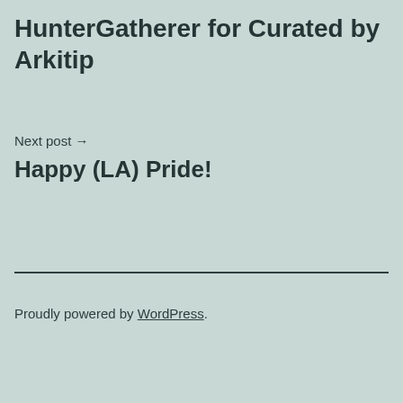HunterGatherer for Curated by Arkitip
Next post →
Happy (LA) Pride!
Proudly powered by WordPress.